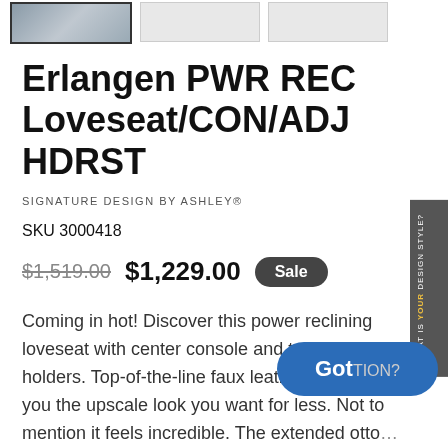[Figure (photo): Product thumbnail images row showing a dark leather reclining loveseat; first thumbnail is selected/highlighted with a dark border, two additional empty/light thumbnails beside it]
Erlangen PWR REC Loveseat/CON/ADJ HDRST
SIGNATURE DESIGN BY ASHLEY®
SKU 3000418
$1,519.00  $1,229.00  Sale
Coming in hot! Discover this power reclining loveseat with center console and two cup holders. Top-of-the-line faux leather fabric gives you the upscale look you want for less. Not to mention it feels incredible. The extended otto extra lengths for leg comfort. Want to watch TV or something fast? Easily fine-tune i with th